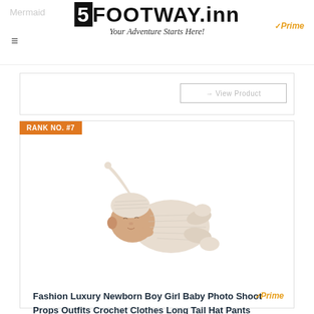5FOOTWAY.inn — Your Adventure Starts Here!
Mermaid
Prime
RANK NO. #7
[Figure (photo): Sleeping newborn baby wearing a white crochet knit long-tail hat and matching outfit/pants, posed curled up on white background]
Fashion Luxury Newborn Boy Girl Baby Photo Shoot Props Outfits Crochet Clothes Long Tail Hat Pants Photography Shoot Props (White)
Prime